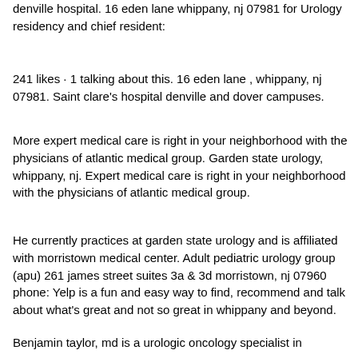denville hospital. 16 eden lane whippany, nj 07981 for Urology residency and chief resident:
241 likes · 1 talking about this. 16 eden lane , whippany, nj 07981. Saint clare's hospital denville and dover campuses.
More expert medical care is right in your neighborhood with the physicians of atlantic medical group. Garden state urology, whippany, nj. Expert medical care is right in your neighborhood with the physicians of atlantic medical group.
He currently practices at garden state urology and is affiliated with morristown medical center. Adult pediatric urology group (apu) 261 james street suites 3a & 3d morristown, nj 07960 phone: Yelp is a fun and easy way to find, recommend and talk about what's great and not so great in whippany and beyond.
Benjamin taylor, md is a urologic oncology specialist in